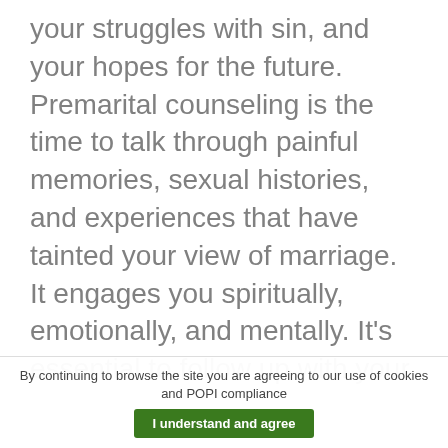your struggles with sin, and your hopes for the future. Premarital counseling is the time to talk through painful memories, sexual histories, and experiences that have tainted your view of marriage. It engages you spiritually, emotionally, and mentally. It's essential to follow up with your partner after particularly heavy sessions and check-in.
It is impossible to talk about marriage without talking about the beauty of the gospel and the love that Christ has for us. The two are intricately interwoven
By continuing to browse the site you are agreeing to our use of cookies and POPI compliance   I understand and agree